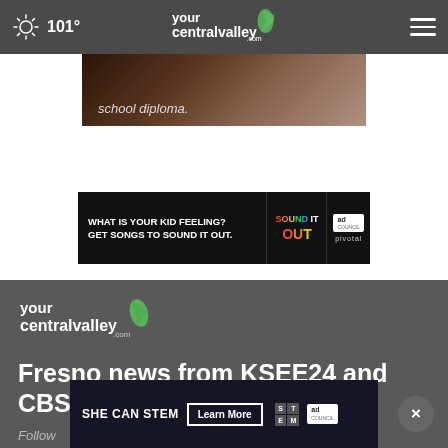101° yourcentralvalley.com
[Figure (photo): Partial image showing 'school diploma.' text overlay on a dark photographic background]
[Figure (infographic): Advertisement banner: 'WHAT IS YOUR KID FEELING? GET SONGS TO SOUND IT OUT.' with Sound It Out and Ad Council / Pivotal logos]
[Figure (logo): yourcentralvalley.com logo with green leaf icon]
Fresno news from KSEE24 and CBS47
Follow
[Figure (infographic): Bottom advertisement banner: 'SHE CAN STEM  Learn More' with STEM and Ad Council logos]